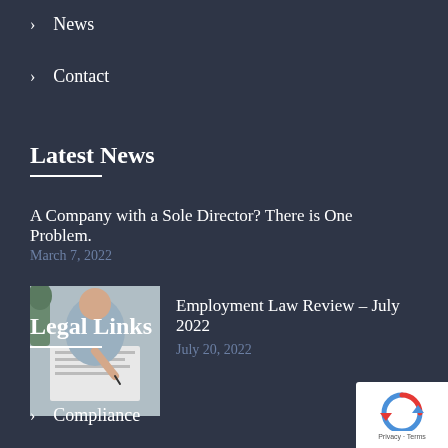> News
> Contact
Latest News
A Company with a Sole Director? There is One Problem.
March 7, 2022
[Figure (photo): Person signing documents at a desk]
Employment Law Review – July 2022
July 20, 2022
Legal Links
> Compliance
[Figure (logo): reCAPTCHA badge with Privacy and Terms text]